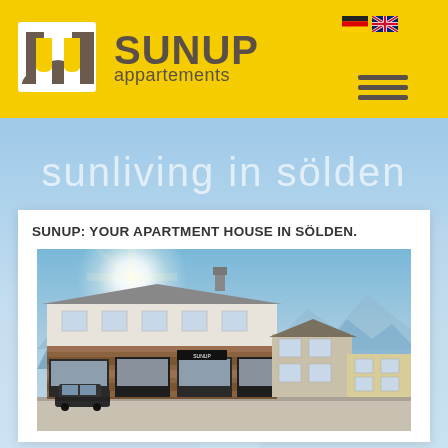[Figure (logo): SUNUP Appartements logo on yellow background with stylized N/U icon and text 'SUNUP appartements', German and UK flag icons, and hamburger menu icon]
sunliving in sölden
SUNUP: YOUR APARTMENT HOUSE IN SÖLDEN.
[Figure (photo): Exterior photo of Sunup Appartements building in Sölden, Austria. A modern alpine building with wood facade, storefronts at ground level, blue sky with bright sun, mountains in background.]